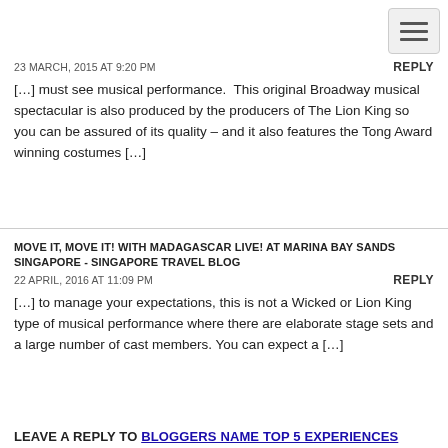23 MARCH, 2015 AT 9:20 PM
REPLY
[…] must see musical performance.  This original Broadway musical spectacular is also produced by the producers of The Lion King so you can be assured of its quality – and it also features the Tong Award winning costumes […]
MOVE IT, MOVE IT! WITH MADAGASCAR LIVE! AT MARINA BAY SANDS SINGAPORE - SINGAPORE TRAVEL BLOG
22 APRIL, 2016 AT 11:09 PM
REPLY
[…] to manage your expectations, this is not a Wicked or Lion King type of musical performance where there are elaborate stage sets and a large number of cast members. You can expect a […]
LEAVE A REPLY TO BLOGGERS NAME TOP 5 EXPERIENCES